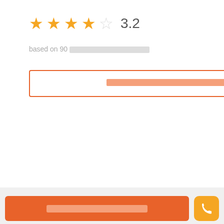[Figure (other): Star rating display showing 3.2 out of 5 stars (3.5 stars filled orange), with text 'based on 90 [blurred text]' below]
based on 90 [blurred]
[blurred button text] - orange outlined button
[Figure (other): Partial star rating on right side showing 4.5 stars, 'based on 381 [blurred]', and 'punch [blurred]' orange button]
[blurred] [blurred] [blurred]
[tab active: blurred] [tab inactive: blurred]
[Figure (other): Two gray placeholder image cards]
[blurred] [blurred] [blurred] - orange CTA button with phone icon button